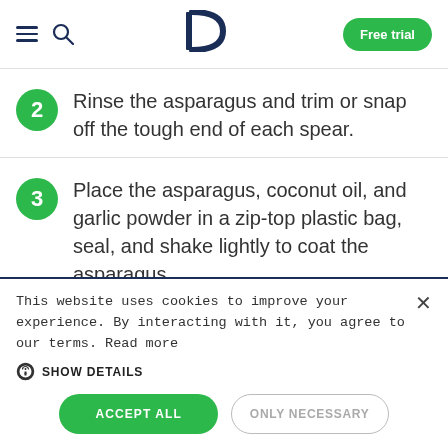D | Free trial
2 Rinse the asparagus and trim or snap off the tough end of each spear.
3 Place the asparagus, coconut oil, and garlic powder in a zip-top plastic bag, seal, and shake lightly to coat the asparagus.
This website uses cookies to improve your experience. By interacting with it, you agree to our terms. Read more
SHOW DETAILS
ACCEPT ALL | ONLY NECESSARY